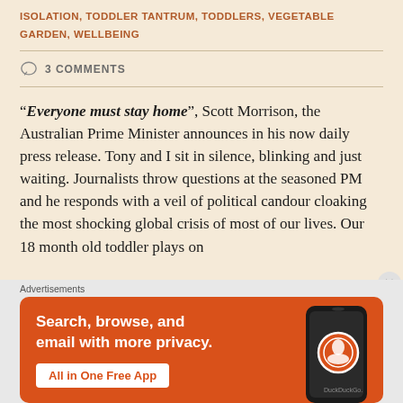ISOLATION, TODDLER TANTRUM, TODDLERS, VEGETABLE GARDEN, WELLBEING
3 COMMENTS
“Everyone must stay home”, Scott Morrison, the Australian Prime Minister announces in his now daily press release. Tony and I sit in silence, blinking and just waiting. Journalists throw questions at the seasoned PM and he responds with a veil of political candour cloaking the most shocking global crisis of most of our lives. Our 18 month old toddler plays on the floor...
[Figure (other): Advertisement banner for DuckDuckGo app: orange background with smartphone image and text 'Search, browse, and email with more privacy. All in One Free App'. DuckDuckGo logo and branding visible.]